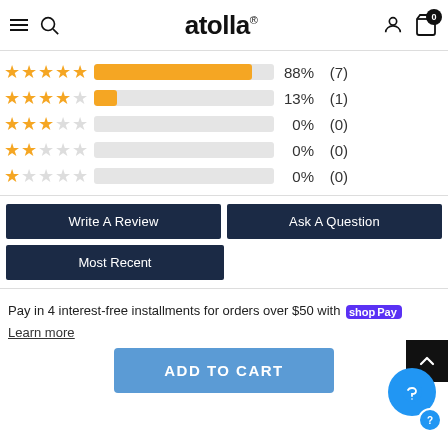atolla® — navigation header with hamburger menu, search, user icon, and cart (0)
[Figure (bar-chart): Star rating distribution]
Write A Review
Ask A Question
Most Recent
Pay in 4 interest-free installments for orders over $50 with Shop Pay
Learn more
ADD TO CART